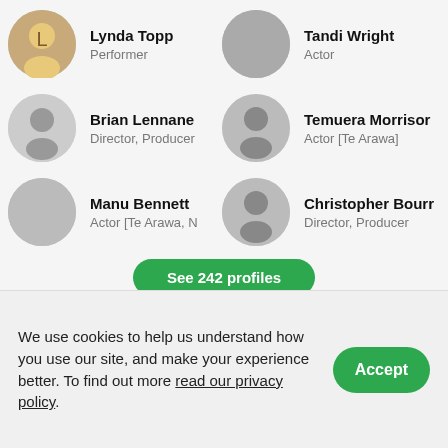Lynda Topp
Performer
Tandi Wright
Actor
Brian Lennane
Director, Producer
Temuera Morrison
Actor [Te Arawa]
Manu Bennett
Actor [Te Arawa, N...
Christopher Bourn...
Director, Producer
See 242 profiles
We use cookies to help us understand how you use our site, and make your experience better. To find out more read our privacy policy.
Accept